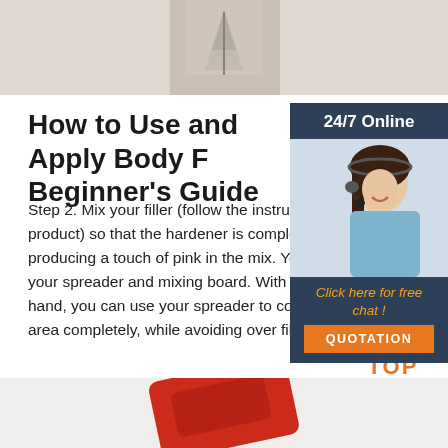[Figure (photo): Top photo showing a person in light colored clothing, partial view]
How to Use and Apply Body F... Beginner's Guide
Step 2. Mix your filler (follow the instructions product) so that the hardener is completely m producing a touch of pink in the mix. You can your spreader and mixing board. With a good hand, you can use your spreader to coat the area completely, while avoiding over filling.
[Figure (photo): Sidebar with 24/7 Online label, woman with headset customer service photo, Click here for free chat text, and QUOTATION orange button]
Get Price
[Figure (logo): TOP icon with orange dots forming triangle above orange TOP text]
[Figure (photo): Bottom partial photo showing a red object]